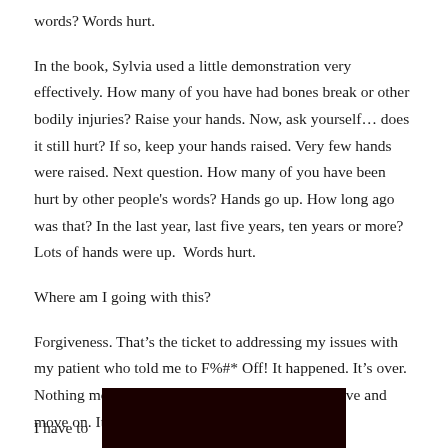words? Words hurt.
In the book, Sylvia used a little demonstration very effectively. How many of you have had bones break or other bodily injuries? Raise your hands. Now, ask yourself… does it still hurt? If so, keep your hands raised. Very few hands were raised. Next question. How many of you have been hurt by other people's words? Hands go up. How long ago was that? In the last year, last five years, ten years or more? Lots of hands were up.  Words hurt.
Where am I going with this?
Forgiveness. That's the ticket to addressing my issues with my patient who told me to F%#* Off! It happened. It's over. Nothing more is going to come of it. Time to forgive and move on. It's over.
[Figure (photo): Dark/black rectangular image in the lower right portion of the page]
I have to